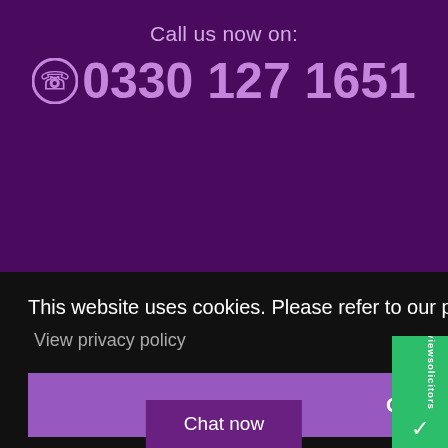Call us now on:
0330 127 1651
This website uses cookies. Please refer to our privacy policy for more information.
View privacy policy
Got it!
Chat now
[Figure (logo): reviewsolicitors green badge with text and checkmark logo on right side]